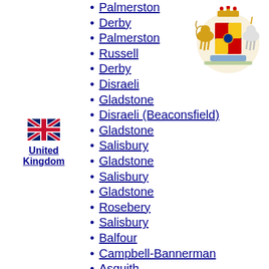[Figure (illustration): Royal coat of arms of the United Kingdom - lion and unicorn supporting a shield with crown]
[Figure (illustration): UK flag (Union Jack) icon]
United Kingdom
Palmerston
Derby
Palmerston
Russell
Derby
Disraeli
Gladstone
Disraeli (Beaconsfield)
Gladstone
Salisbury
Gladstone
Salisbury
Gladstone
Rosebery
Salisbury
Balfour
Campbell-Bannerman
Asquith
Lloyd George
Law
Baldwin
MacDonald
Baldwin
MacDonald
Baldwin